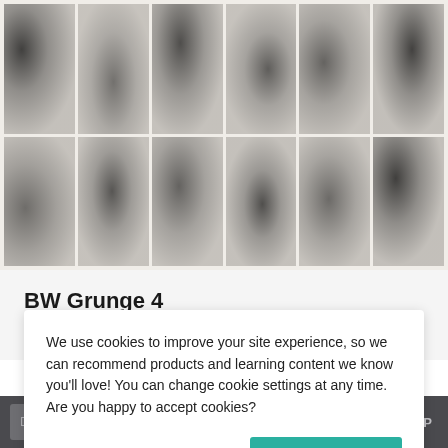[Figure (photo): Grid of black and white grunge texture tiles arranged in 2 rows and 6 columns, showing worn, stained, antiqued square tile surfaces with dark markings and distressed patterns.]
BW Grunge 4
Product specs:
We use cookies to improve your site experience, so we can recommend products and learning content we know you'll love! You can change cookie settings at any time. Are you happy to accept cookies?
Manage Cookie Preferences
Yes I'm Happy
TOP